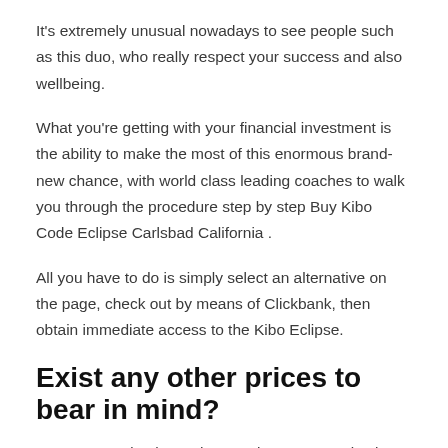It's extremely unusual nowadays to see people such as this duo, who really respect your success and also wellbeing.
What you're getting with your financial investment is the ability to make the most of this enormous brand-new chance, with world class leading coaches to walk you through the procedure step by step Buy Kibo Code Eclipse Carlsbad California .
All you have to do is simply select an alternative on the page, check out by means of Clickbank, then obtain immediate access to the Kibo Eclipse.
Exist any other prices to bear in mind?
Yes, you need to know that running any organization has costs. If you pay somebody to educate you as a plumbing professional,